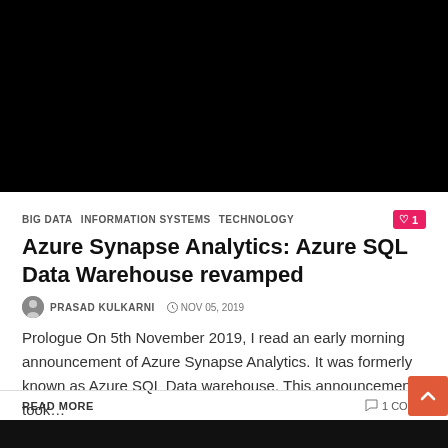[Figure (photo): Black hero image / thumbnail for the article about Azure Synapse Analytics]
BIG DATA  INFORMATION SYSTEMS  TECHNOLOGY
Azure Synapse Analytics: Azure SQL Data Warehouse revamped
PRASAD KULKARNI  NOV 05, 2019
Prologue On 5th November 2019, I read an early morning announcement of Azure Synapse Analytics. It was formerly known as Azure SQL Data warehouse. This announcement took…
READ MORE
1 COMM